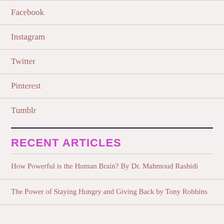Facebook
Instagram
Twitter
Pinterest
Tumblr
RECENT ARTICLES
How Powerful is the Human Brain? By Dr. Mahmoud Rashidi
The Power of Staying Hungry and Giving Back by Tony Robbins